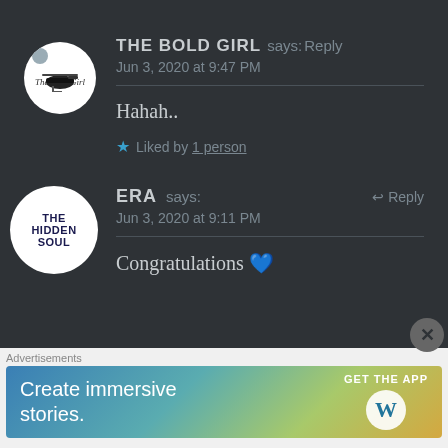THE BOLD GIRL says: Reply
Jun 3, 2020 at 9:47 PM

Hahah..

★ Liked by 1 person
ERA says: Reply
Jun 3, 2020 at 9:11 PM

Congratulations 💙
Advertisements
Create immersive stories. GET THE APP